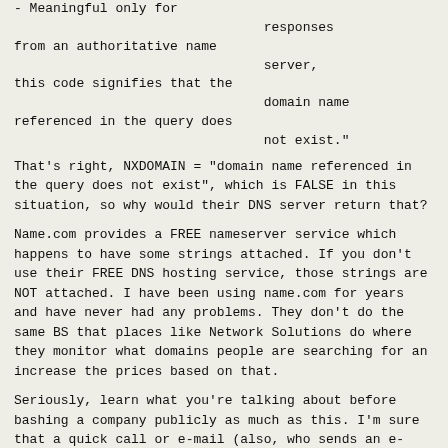- Meaningful only for
                                    responses
from an authoritative name
                                    server,
this code signifies that the
                                    domain name
referenced in the query does
                                    not exist."
That's right, NXDOMAIN = "domain name referenced in the query does not exist", which is FALSE in this situation, so why would their DNS server return that?
Name.com provides a FREE nameserver service which happens to have some strings attached. If you don't use their FREE DNS hosting service, those strings are NOT attached. I have been using name.com for years and have never had any problems. They don't do the same BS that places like Network Solutions do where they monitor what domains people are searching for an increase the prices based on that.
Seriously, learn what you're talking about before bashing a company publicly as much as this. I'm sure that a quick call or e-mail (also, who sends an e-mail requesting that a company call them? Protip: people in tech support HATE that...just ask your question in the e-mail) with a properly-worded question like "Yo, why does my domain name NOT return an 'nxdomain' code when I query your nameserver?" would have resulted in a clear and concise answer from them.